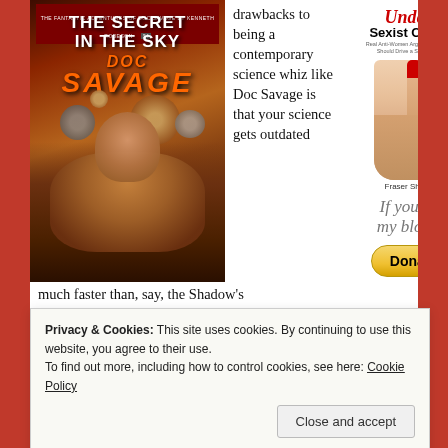[Figure (illustration): Book cover of 'The Secret in the Sky' Doc Savage pulp novel, showing a muscular figure in an orange/brown landscape with planets in the background]
drawbacks to being a contemporary science whiz like Doc Savage is that your science gets outdated much faster than, say, the Shadow's
[Figure (illustration): Advertisement for 'Undead Sexist Cliches' by Fraser Sherman, showing a hand giving a middle finger with a red painted nail, book title in red and black text, with 'If you like my blog ...' text and a yellow Donate PayPal button]
Privacy & Cookies: This site uses cookies. By continuing to use this website, you agree to their use.
To find out more, including how to control cookies, see here: Cookie Policy
Close and accept
combination phonograph/dictaphone that